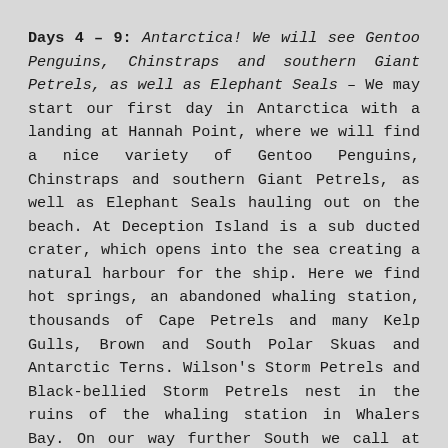Days 4 – 9: Antarctica! We will see Gentoo Penguins, Chinstraps and southern Giant Petrels, as well as Elephant Seals – We may start our first day in Antarctica with a landing at Hannah Point, where we will find a nice variety of Gentoo Penguins, Chinstraps and southern Giant Petrels, as well as Elephant Seals hauling out on the beach. At Deception Island is a sub ducted crater, which opens into the sea creating a natural harbour for the ship. Here we find hot springs, an abandoned whaling station, thousands of Cape Petrels and many Kelp Gulls, Brown and South Polar Skuas and Antarctic Terns. Wilson's Storm Petrels and Black-bellied Storm Petrels nest in the ruins of the whaling station in Whalers Bay. On our way further South we call at Cuverville Island, a small precipitous island, nestled between the mountains of the